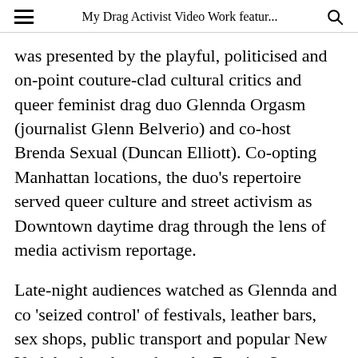My Drag Activist Video Work featur...
was presented by the playful, politicised and on-point couture-clad cultural critics and queer feminist drag duo Glennda Orgasm (journalist Glenn Belverio) and co-host Brenda Sexual (Duncan Elliott). Co-opting Manhattan locations, the duo's repertoire served queer culture and street activism as Downtown daytime drag through the lens of media activism reportage.
Late-night audiences watched as Glennda and co 'seized control' of festivals, leather bars, sex shops, public transport and popular New York landmarks such as the Empire State Building and Times Square. Over the years, guests included Penny Arcade, Sadie Benning, Barbara Hammer, Kembra